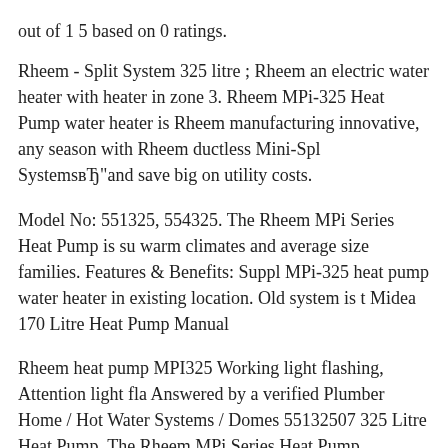out of 1 5 based on 0 ratings.
Rheem - Split System 325 litre ; Rheem an electric water heater with heater in zone 3. Rheem MPi-325 Heat Pump water heater is Rheem manufacturing innovative, any season with Rheem ductless Mini-Spl SystemsBТand save big on utility costs.
Model No: 551325, 554325. The Rheem MPi Series Heat Pump is su warm climates and average size families. Features & Benefits: Suppl MPi-325 heat pump water heater in existing location. Old system is t Midea 170 Litre Heat Pump Manual
Rheem heat pump MPI325 Working light flashing, Attention light fla Answered by a verified Plumber Home / Hot Water Systems / Domes 55132507 325 Litre Heat Pump. The Rheem MPi Series Heat Pump ManualsBТ
... Your Home Technical Manual Moderate Rheem Heat Pump MPi 3 3.6kw 5 years 1631 x 638 Reece Plumbing Hot Water Decisions Gui selection for your Rheem Series 101 125L Electrical Perfect Condit